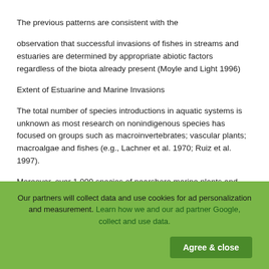The previous patterns are consistent with the
observation that successful invasions of fishes in streams and estuaries are determined by appropriate abiotic factors regardless of the biota already present (Moyle and Light 1996)
Extent of Estuarine and Marine Invasions
The total number of species introductions in aquatic systems is unknown as most research on nonindigenous species has focused on groups such as macroinvertebrates; vascular plants; macroalgae and fishes (e.g., Lachner et al. 1970; Ruiz et al. 1997).
Moreover, over 1,000 species of nearshore marine plants and animals regarded as naturally cosmopolitan may represent pre-1800 century invasions (Carlton 1999)
Our partners will collect data and use cookies for ad personalization and measurement. Learn how we and our ad partner Google, collect and use data.